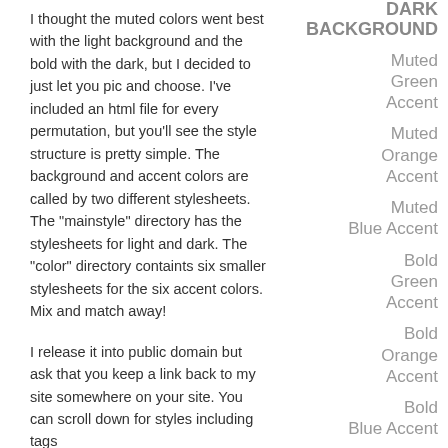I thought the muted colors went best with the light background and the bold with the dark, but I decided to just let you pic and choose. I've included an html file for every permutation, but you'll see the style structure is pretty simple. The background and accent colors are called by two different stylesheets. The "mainstyle" directory has the stylesheets for light and dark. The "color" directory containts six smaller stylesheets for the six accent colors. Mix and match away!
I release it into public domain but ask that you keep a link back to my site somewhere on your site. You can scroll down for styles including tags
DARK BACKGROUND
Muted Green Accent
Muted Orange Accent
Muted Blue Accent
Bold Green Accent
Bold Orange Accent
Bold Blue Accent